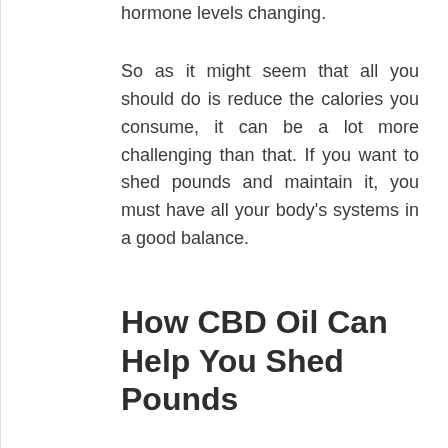hormone levels changing.
So as it might seem that all you should do is reduce the calories you consume, it can be a lot more challenging than that. If you want to shed pounds and maintain it, you must have all your body's systems in a good balance.
How CBD Oil Can Help You Shed Pounds